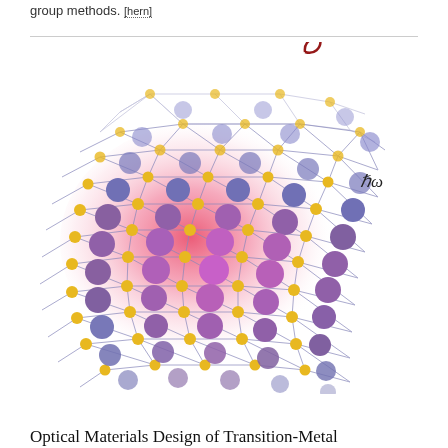group methods. [hern]
[Figure (illustration): 3D illustration of a 2D transition-metal dichalcogenide atomic lattice structure with purple, orange/yellow, and blue-purple atoms arranged in a hexagonal pattern on an inclined plane, with a red spiral wave (photon) hitting the lattice labeled with ℏω (h-bar omega), representing optical excitation. The lattice glows red/pink in the center suggesting optical absorption.]
Optical Materials Design of Transition-Metal